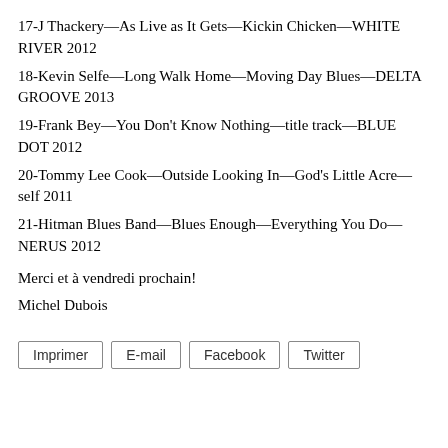17-J Thackery—As Live as It Gets—Kickin Chicken—WHITE RIVER 2012
18-Kevin Selfe—Long Walk Home—Moving Day Blues—DELTA GROOVE 2013
19-Frank Bey—You Don't Know Nothing—title track—BLUE DOT 2012
20-Tommy Lee Cook—Outside Looking In—God's Little Acre—self 2011
21-Hitman Blues Band—Blues Enough—Everything You Do—NERUS 2012
Merci et à vendredi prochain!
Michel Dubois